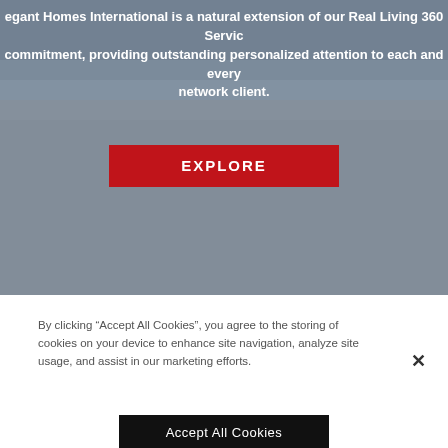[Figure (screenshot): Hero background with grey/blue cloudy sky tones]
egant Homes International is a natural extension of our Real Living 360 Service commitment, providing outstanding personalized attention to each and every network client.
EXPLORE
By clicking “Accept All Cookies”, you agree to the storing of cookies on your device to enhance site navigation, analyze site usage, and assist in our marketing efforts.
Accept All Cookies